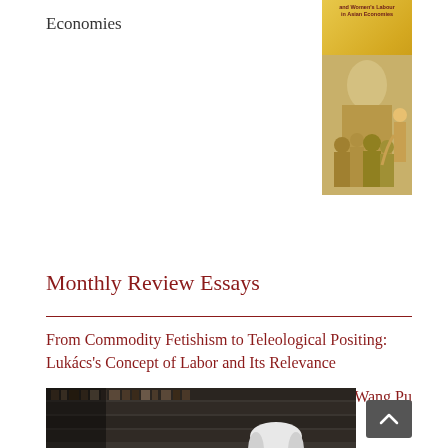Economies
[Figure (illustration): Book cover with yellow/gold background showing text and figures, titled related to Women's Labour in Asian Economies]
Monthly Review Essays
From Commodity Fetishism to Teleological Positing: Lukács's Concept of Labor and Its Relevance
Wang Pu
[Figure (photo): Black and white photograph of an elderly man (Lukács) seated in a library, gesturing with hands while speaking, surrounded by bookshelves]